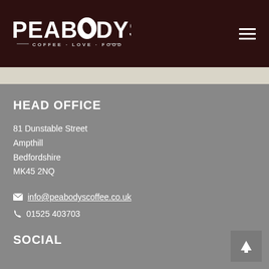[Figure (logo): Peabodys Coffee Love Food logo — white text on dark brown background with coffee bean icon in the 'O' of PEABODYS and tagline COFFEE · LOVE · FOOD with decorative lines]
HEAD OFFICE
81 Dunstable Street
Ampthill
Bedfordshire
MK45 2NQ
info@peabodyscoffee.co.uk
01525 403703
SOCIAL